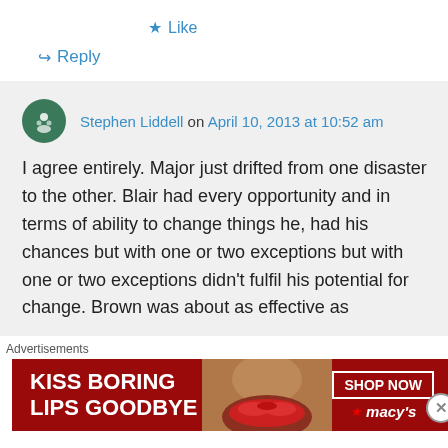★ Like
↪ Reply
Stephen Liddell on April 10, 2013 at 10:52 am
I agree entirely. Major just drifted from one disaster to the other. Blair had every opportunity and in terms of ability to change things he, had his chances but with one or two exceptions but with one or two exceptions didn't fulfil his potential for change. Brown was about as effective as
Advertisements
[Figure (photo): Advertisement banner for Macy's lipstick: 'KISS BORING LIPS GOODBYE' with a SHOP NOW button and Macy's logo, showing a woman's face with red lipstick]